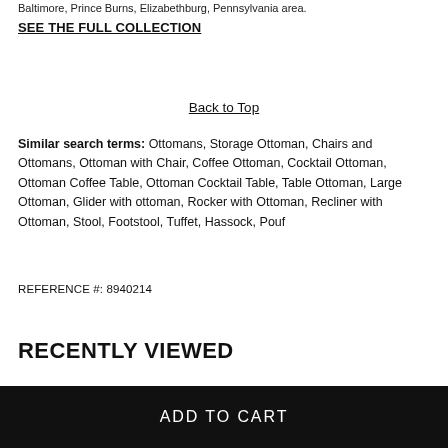Baltimore, Prince Burns, Elizabethburg, Pennsylvania area.
SEE THE FULL COLLECTION
Back to Top
Similar search terms: Ottomans, Storage Ottoman, Chairs and Ottomans, Ottoman with Chair, Coffee Ottoman, Cocktail Ottoman, Ottoman Coffee Table, Ottoman Cocktail Table, Table Ottoman, Large Ottoman, Glider with ottoman, Rocker with Ottoman, Recliner with Ottoman, Stool, Footstool, Tuffet, Hassock, Pouf
REFERENCE #: 8940214
RECENTLY VIEWED
ADD TO CART